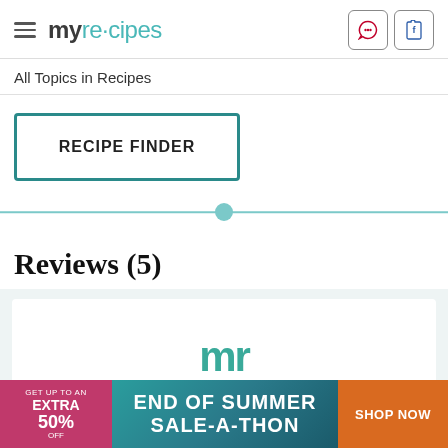myrecipes
All Topics in Recipes
RECIPE FINDER
Reviews (5)
[Figure (logo): myrecipes 'mr' logo mark in teal]
[Figure (infographic): Advertisement banner: GET UP TO AN EXTRA 50% OFF | END OF SUMMER SALE-A-THON | SHOP NOW]